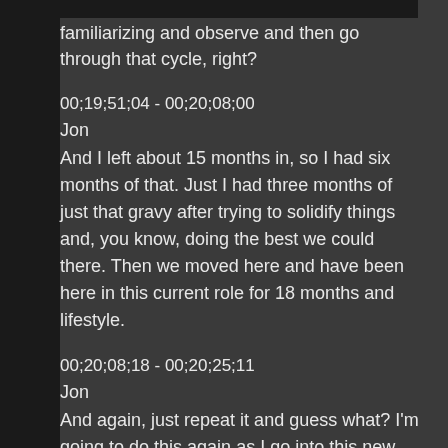familiarizing and observe and then go through that cycle, right?
00;19;51;04 - 00;20;08;00
Jon
And I left about 15 months in, so I had six months of that. Just I had three months of just that gravy after trying to solidify things and, you know, doing the best we could there. Then we moved here and have been here in this current role for 18 months and lifestyle.
00;20;08;18 - 00;20;25;11
Jon
And again, just repeat it and guess what? I'm going to do this again as I go into this new role, do that first...